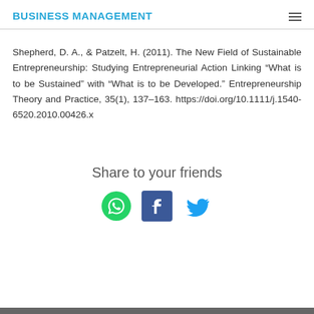BUSINESS MANAGEMENT
Shepherd, D. A., & Patzelt, H. (2011). The New Field of Sustainable Entrepreneurship: Studying Entrepreneurial Action Linking “What is to be Sustained” with “What is to be Developed.” Entrepreneurship Theory and Practice, 35(1), 137–163. https://doi.org/10.1111/j.1540-6520.2010.00426.x
Share to your friends
[Figure (illustration): Social sharing icons: WhatsApp (green circle with phone icon), Facebook (blue square with f logo), Twitter (blue bird icon)]